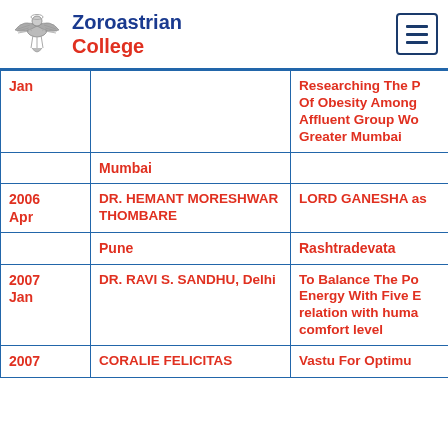Zoroastrian College
| Date | Name | Topic |
| --- | --- | --- |
| Jan |  | Researching The P... Of Obesity Among... Affluent Group Wo... Greater Mumbai |
|  | Mumbai |  |
| 2006 Apr | DR. HEMANT MORESHWAR THOMBARE | LORD GANESHA as... |
|  | Pune | Rashtradevata |
| 2007 Jan | DR. RAVI S. SANDHU, Delhi | To Balance The Po... Energy With Five E... relation with huma... comfort level |
| 2007 | CORALIE FELICITAS | Vastu For Optimu... |